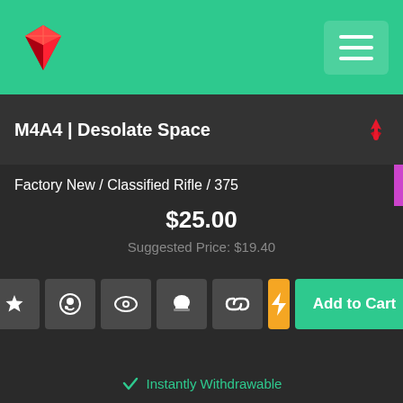[Figure (logo): Red diamond/gem shape logo for a gaming marketplace]
M4A4 | Desolate Space
Factory New / Classified Rifle / 375
$25.00
Suggested Price: $19.40
Instantly Withdrawable